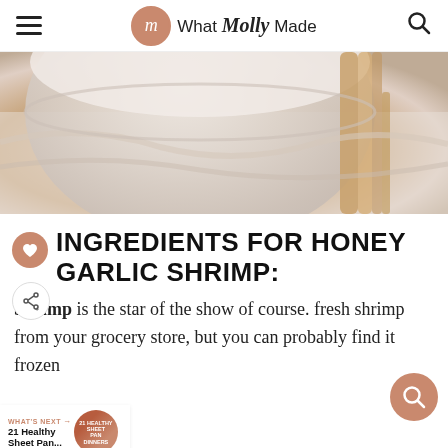What Molly Made
[Figure (photo): Close-up photo of a ceramic bowl with a wooden utensil, soft-focus warm tones on a white linen background]
INGREDIENTS FOR HONEY GARLIC SHRIMP:
Shrimp is the star of the show of course. fresh shrimp from your grocery store, but you can probably find it frozen